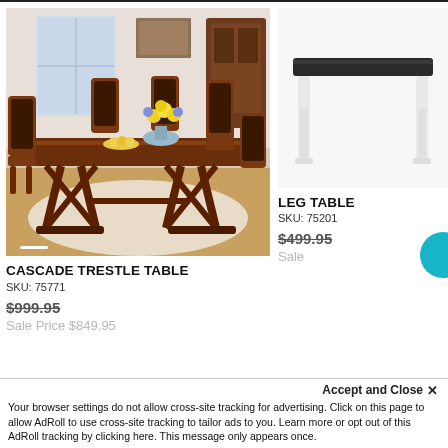[Figure (photo): Dining room set with dark wood trestle table and chairs with leather seats, flowers and yellow bowl on table, wood floor and rug]
[Figure (photo): White leg table with dark top, on white background]
CASCADE TRESTLE TABLE
SKU: 75771
$999.95 (strikethrough)
Sale Price $849.95
LEG TABLE
SKU: 75201
$499.95 (strikethrough)
Sale
Accept and Close ×
Your browser settings do not allow cross-site tracking for advertising. Click on this page to allow AdRoll to use cross-site tracking to tailor ads to you. Learn more or opt out of this AdRoll tracking by clicking here. This message only appears once.